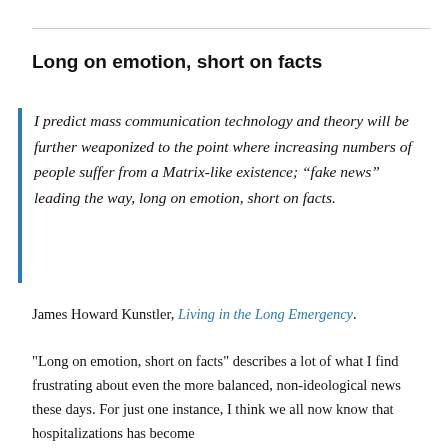Long on emotion, short on facts
I predict mass communication technology and theory will be further weaponized to the point where increasing numbers of people suffer from a Matrix-like existence; “fake news” leading the way, long on emotion, short on facts.
James Howard Kunstler, Living in the Long Emergency.
"Long on emotion, short on facts" describes a lot of what I find frustrating about even the more balanced, non-ideological news these days. For just one instance, I think we all now know that hospitalizations has become